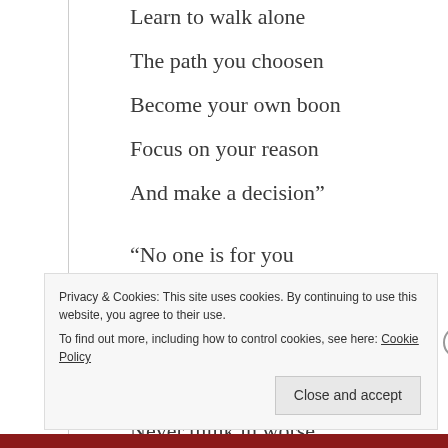Learn to walk alone
The path you choosen
Become your own boon
Focus on your reason
And make a decision”
“No one is for you
Nothing is your’s
Even by a chance,
Though in bad times
Never think in worse
But feel it’s worse”
Privacy & Cookies: This site uses cookies. By continuing to use this website, you agree to their use.
To find out more, including how to control cookies, see here: Cookie Policy
Close and accept